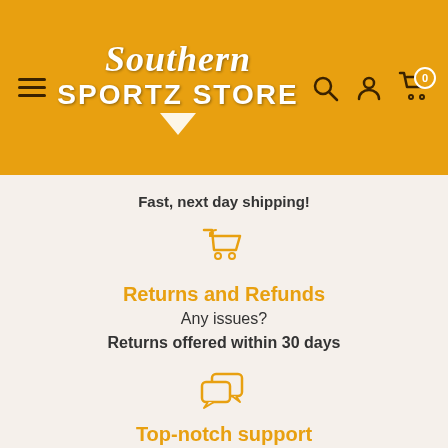[Figure (logo): Southern Sportz Store logo on golden/amber header background with hamburger menu icon on left and search, account, cart icons on right]
Fast, next day shipping!
[Figure (illustration): Return shopping cart icon in golden/amber color]
Returns and Refunds
Any issues?
Returns offered within 30 days
[Figure (illustration): Chat/speech bubbles icon in golden/amber color]
Top-notch support
For any questions on orders or stock, contact:
+1 865 366 1522